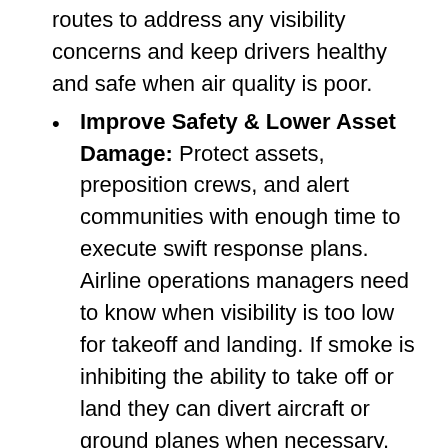routes to address any visibility concerns and keep drivers healthy and safe when air quality is poor.
Improve Safety & Lower Asset Damage: Protect assets, preposition crews, and alert communities with enough time to execute swift response plans. Airline operations managers need to know when visibility is too low for takeoff and landing. If smoke is inhibiting the ability to take off or land they can divert aircraft or ground planes when necessary.
Tomorrow.io's top priority is helping organizations and people manage and make the best operational decisions based on the impact of weather in their area. That's why we are committed to consistently updating and